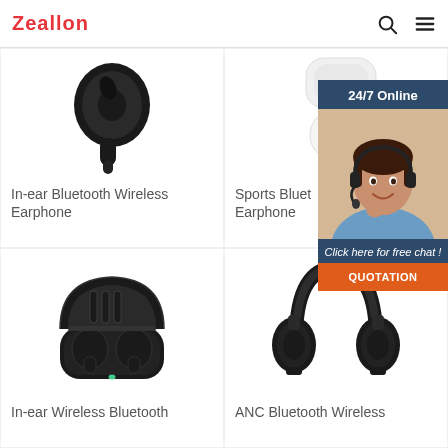Zeallon
[Figure (photo): Black in-ear Bluetooth wireless earphone (earbud without case)]
[Figure (photo): White sports Bluetooth wireless earphone (AirPods-style)]
In-ear Bluetooth Wireless Earphone
Sports Bluet Earphone
[Figure (infographic): 24/7 Online chat widget with customer service representative photo, 'Click here for free chat!' text, and orange QUOTATION button]
[Figure (photo): Black TWS earbuds in open charging case]
[Figure (photo): Black ANC Bluetooth wireless over-ear headphones]
In-ear Wireless Bluetooth
ANC Bluetooth Wireless